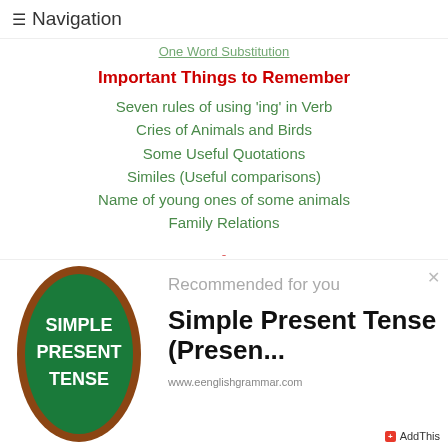☰ Navigation
One Word Substitution
Important Things to Remember
Seven rules of using 'ing' in Verb
Cries of Animals and Birds
Some Useful Quotations
Similes (Useful comparisons)
Name of young ones of some animals
Family Relations
[Figure (illustration): Green oval badge with brown border showing text: SIMPLE PRESENT TENSE in white bold letters]
Recommended for you
Simple Present Tense (Presen...
www.eenglishgrammar.com
+ AddThis